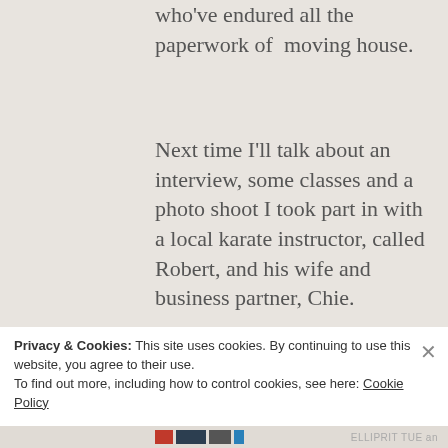who've endured all the paperwork of moving house.
Next time I'll talk about an interview, some classes and a photo shoot I took part in with a local karate instructor, called Robert, and his wife and business partner, Chie.
[Figure (photo): Partial photo of a person, appears to be blurred/cropped, dark background with light foreground]
Privacy & Cookies: This site uses cookies. By continuing to use this website, you agree to their use.
To find out more, including how to control cookies, see here: Cookie Policy
Close and accept